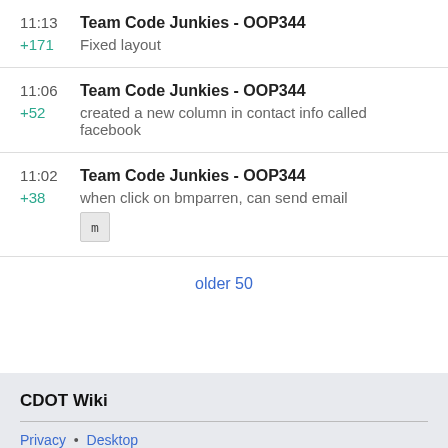11:13  Team Code Junkies - OOP344
+171  Fixed layout
11:06  Team Code Junkies - OOP344
+52  created a new column in contact info called facebook
11:02  Team Code Junkies - OOP344
+38  when click on bmparren, can send email
older 50
CDOT Wiki
Privacy • Desktop